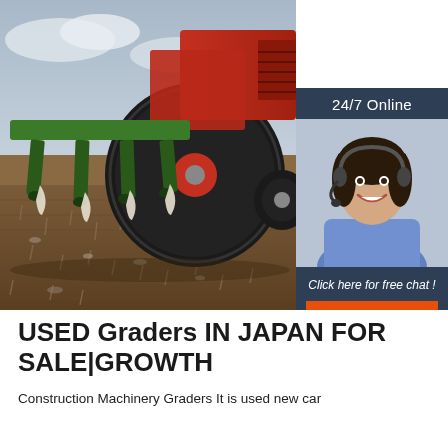[Figure (photo): A red tractor with green farming attachment plowing a brown harvested field under a cloudy sky. In the lower right area an overlay panel shows a 24/7 Online chat widget with a smiling woman wearing a headset, the text 'Click here for free chat!' and an orange QUOTATION button.]
USED Graders IN JAPAN FOR SALE|GROWTH
Construction Machinery Graders It is used new car